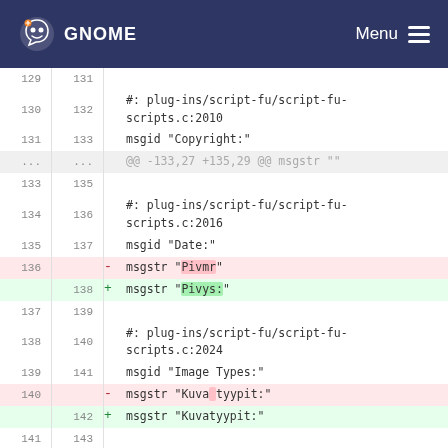GNOME   Menu
Diff view of a .po file showing changes to Finnish translations in GIMP plug-ins/script-fu/script-fu-scripts.c
| old | new | sign | content |
| --- | --- | --- | --- |
| 129 | 131 |  |  |
| 130 | 132 |  | #: plug-ins/script-fu/script-fu-scripts.c:2010 |
| 131 | 133 |  | msgid "Copyright:" |
| ... | ... |  | @@ -133,27 +135,29 @@ msgstr "" |
| 133 | 135 |  |  |
| 134 | 136 |  | #: plug-ins/script-fu/script-fu-scripts.c:2016 |
| 135 | 137 |  | msgid "Date:" |
| 136 |  | - | msgstr "Pivmr" |
|  | 138 | + | msgstr "Pivys:" |
| 137 | 139 |  |  |
| 138 | 140 |  | #: plug-ins/script-fu/script-fu-scripts.c:2024 |
| 139 | 141 |  | msgid "Image Types:" |
| 140 |  | - | msgstr "Kuva tyypit:" |
|  | 142 | + | msgstr "Kuvatyypit:" |
| 141 | 143 |  |  |
| 142 | 144 |  | #: plug-ins/script-fu/script-fu-scripts.c:2189 |